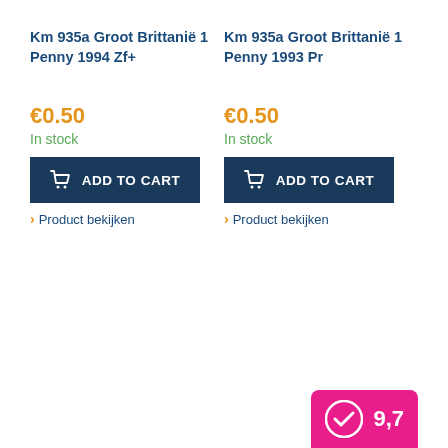Km 935a Groot Brittanië 1 Penny 1994 Zf+
€0.50
In stock
ADD TO CART
Product bekijken
Km 935a Groot Brittanië 1 Penny 1993 Pr
€0.50
In stock
ADD TO CART
Product bekijken
[Figure (logo): Rating badge with checkmark logo and score 9,7 on pink/magenta background]